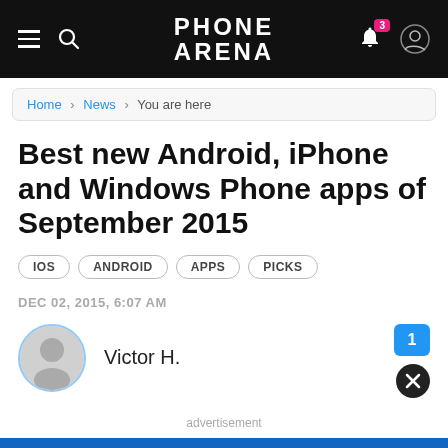PHONE ARENA
Home > News > You are here
Best new Android, iPhone and Windows Phone apps of September 2015
IOS
ANDROID
APPS
PICKS
DEC 02, 2015, 6:07 AM
Victor H.
advertisement